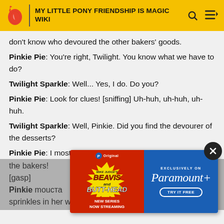MY LITTLE PONY FRIENDSHIP IS MAGIC WIKI
don't know who devoured the other bakers' goods.
Pinkie Pie: You're right, Twilight. You know what we have to do?
Twilight Sparkle: Well... Yes, I do. Do you?
Pinkie Pie: Look for clues! [sniffing] Uh-huh, uh-huh, uh-huh.
Twilight Sparkle: Well, Pinkie. Did you find the devourer of the desserts?
Pinkie Pie: I most certainly did. It was none other tha the bakers!
[gasp]
Pinkie mouста lia has sprinkles in her wrinkles!
[Figure (infographic): Advertisement banner for Beavis and Butt-Head new series, exclusively on Paramount+, with a close button (X)]